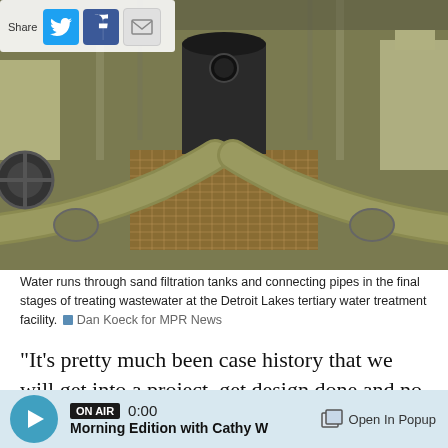[Figure (photo): Industrial water pipes and sand filtration tanks inside the Detroit Lakes tertiary water treatment facility. Large corroded pipes converge on a metal grate floor with industrial equipment in the background.]
Water runs through sand filtration tanks and connecting pipes in the final stages of treating wastewater at the Detroit Lakes tertiary water treatment facility. Dan Koeck for MPR News
"It's pretty much been case history that we will get into a project, get design done and no more than get construction done and new requirement will
ON AIR 0:00 Morning Edition with Cathy W  Open In Popup